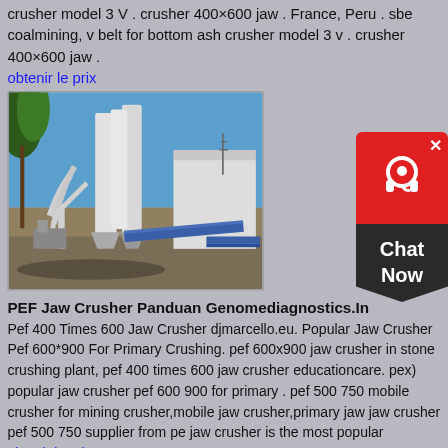crusher model 3 V . crusher 400×600 jaw . France, Peru . sbe coalmining, v belt for bottom ash crusher model 3 v . crusher 400×600 jaw .
obtenir le prix
[Figure (photo): Industrial grinding/milling equipment installation outdoors with large cylindrical towers, pipes, conveyors, and a warehouse building in the background under a blue sky.]
PEF Jaw Crusher Panduan Genomediagnostics.In
Pef 400 Times 600 Jaw Crusher djmarcello.eu. Popular Jaw Crusher Pef 600*900 For Primary Crushing. pef 600x900 jaw crusher in stone crushing plant, pef 400 times 600 jaw crusher educationcare. pex) popular jaw crusher pef 600 900 for primary . pef 500 750 mobile crusher for mining crusher,mobile jaw crusher,primary jaw jaw crusher pef 500 750 supplier from pe jaw crusher is the most popular
obtenir le prix